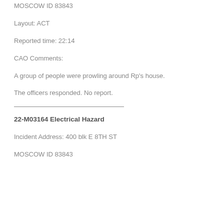MOSCOW ID 83843
Layout: ACT
Reported time: 22:14
CAO Comments:
A group of people were prowling around Rp's house.
The officers responded. No report.
22-M03164 Electrical Hazard
Incident Address: 400 blk E 8TH ST
MOSCOW ID 83843